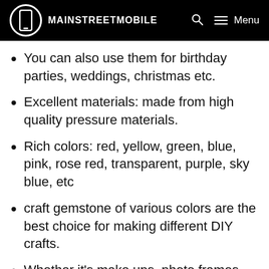MAINSTREETMOBILE
You can also use them for birthday parties, weddings, christmas etc.
Excellent materials: made from high quality pressure materials.
Rich colors: red, yellow, green, blue, pink, rose red, transparent, purple, sky blue, etc
craft gemstone of various colors are the best choice for making different DIY crafts.
Whether it's make ups, photo frames, vases, cell phones or making greeting cards or gift decorations, they are the perfect choice